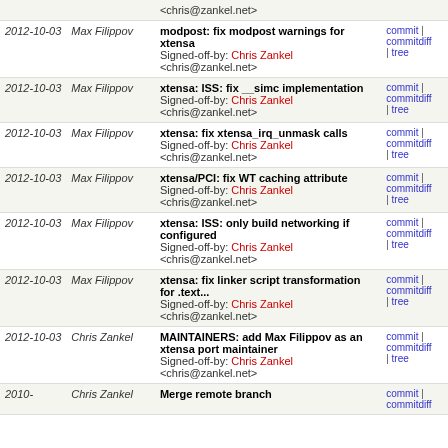| Date | Author | Message | Links |
| --- | --- | --- | --- |
| 2012-10-03 | Max Filippov | modpost: fix modpost warnings for xtensa
Signed-off-by: Chris Zankel <chris@zankel.net> | commit | commitdiff | tree |
| 2012-10-03 | Max Filippov | xtensa: ISS: fix __simc implementation
Signed-off-by: Chris Zankel <chris@zankel.net> | commit | commitdiff | tree |
| 2012-10-03 | Max Filippov | xtensa: fix xtensa_irq_unmask calls
Signed-off-by: Chris Zankel <chris@zankel.net> | commit | commitdiff | tree |
| 2012-10-03 | Max Filippov | xtensa/PCI: fix WT caching attribute
Signed-off-by: Chris Zankel <chris@zankel.net> | commit | commitdiff | tree |
| 2012-10-03 | Max Filippov | xtensa: ISS: only build networking if configured
Signed-off-by: Chris Zankel <chris@zankel.net> | commit | commitdiff | tree |
| 2012-10-03 | Max Filippov | xtensa: fix linker script transformation for .text...
Signed-off-by: Chris Zankel <chris@zankel.net> | commit | commitdiff | tree |
| 2012-10-03 | Chris Zankel | MAINTAINERS: add Max Filippov as an xtensa port maintainer
Signed-off-by: Chris Zankel <chris@zankel.net> | commit | commitdiff | tree |
| 2010- | Chris Zankel | Merge remote branch | commit | commitdiff |